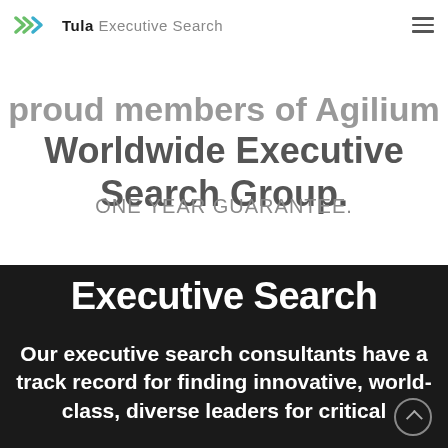[Figure (logo): Tula Executive Search logo with double chevron arrows in green and blue]
proud members of Agilium Worldwide Executive Search Group.
ONE YEAR GUARANTEE.
Executive Search
Our executive search consultants have a track record for finding innovative, world-class, diverse leaders for critical